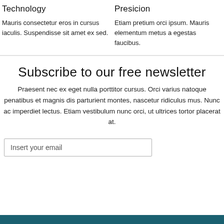Technology
Presicion
Mauris consectetur eros in cursus iaculis. Suspendisse sit amet ex sed.
Etiam pretium orci ipsum. Mauris elementum metus a egestas faucibus.
Subscribe to our free newsletter
Praesent nec ex eget nulla porttitor cursus. Orci varius natoque penatibus et magnis dis parturient montes, nascetur ridiculus mus. Nunc ac imperdiet lectus. Etiam vestibulum nunc orci, ut ultrices tortor placerat at.
Insert your email